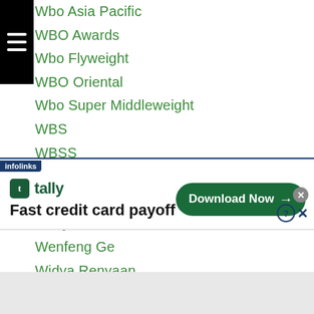Wbo Asia Pacific
WBO Awards
Wbo Flyweight
WBO Oriental
Wbo Super Middleweight
WBS
WBSS
Weigh In
Wei Qian Xian
Welly Koto
Wenfeng Ge
Widya Renyaan
Wilbert Berondo
Willem Papilaya
Wittawas Basapean
...akano
[Figure (screenshot): Advertisement banner: tally app - Fast credit card payoff, Download Now button]